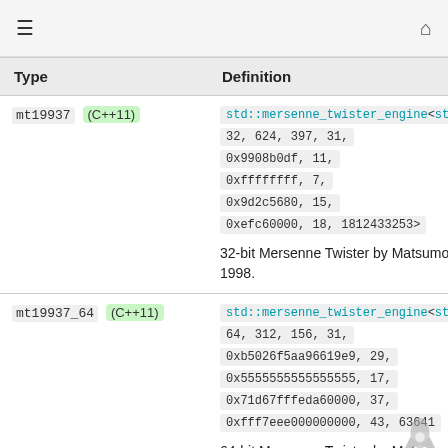≡  🏠
| Type | Definition |
| --- | --- |
| mt19937 (C++11) | std::mersenne_twister_engine<std::uint_fast32_t, 32, 624, 397, 31, 0x9908b0df, 11, 0xffffffff, 7, 0x9d2c5680, 15, 0xefc60000, 18, 1812433253>
32-bit Mersenne Twister by Matsumoto and Nishimura, 1998. |
| mt19937_64 (C++11) | std::mersenne_twister_engine<std::uint_fast64_t, 64, 312, 156, 31, 0xb5026f5aa96619e9, 29, 0x5555555555555555, 17, 0x71d67fffeda60000, 37, 0xfff7eee000000000, 43, 6364136223846793005>
64-bit Mersenne Twister by Matsumoto and Nishimura, 2000. |